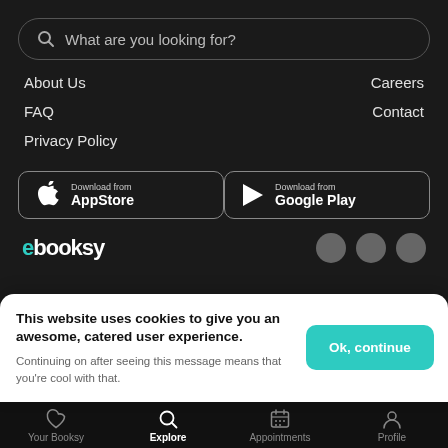[Figure (screenshot): Search bar with magnifying glass icon and placeholder text 'What are you looking for?']
About Us
Careers
FAQ
Contact
Privacy Policy
[Figure (screenshot): App store download buttons: 'Download from AppStore' and 'Download from Google Play']
[Figure (logo): Booksy logo with social media icons]
This website uses cookies to give you an awesome, catered user experience. Continuing on after seeing this message means that you're cool with that.
[Figure (screenshot): Bottom navigation bar with: Your Booksy, Explore (active), Appointments, Profile]